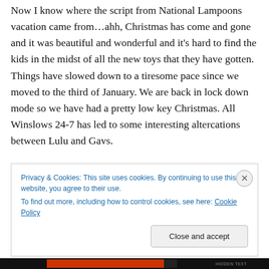Now I know where the script from National Lampoons vacation came from…ahh, Christmas has come and gone and it was beautiful and wonderful and it's hard to find the kids in the midst of all the new toys that they have gotten. Things have slowed down to a tiresome pace since we moved to the third of January. We are back in lock down mode so we have had a pretty low key Christmas. All Winslows 24-7 has led to some interesting altercations between Lulu and Gavs.
Our last outing was Lauren's Christmas concert to see her...
Privacy & Cookies: This site uses cookies. By continuing to use this website, you agree to their use.
To find out more, including how to control cookies, see here: Cookie Policy
Close and accept